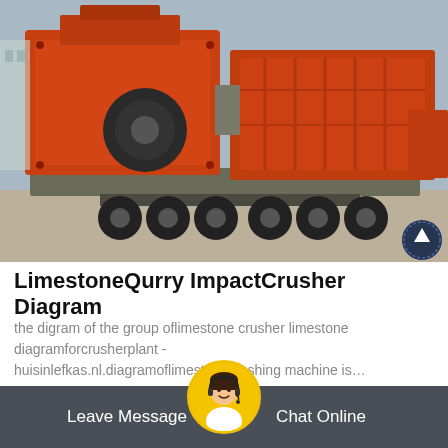[Figure (photo): Large red impact crusher / industrial crushing machine loaded on a flatbed truck trailer, photographed outdoors]
LimestoneQurry ImpactCrusher Diagram
the digram of the group oflimestone crusher limestone diagramforcrusherplant - huisinlefkas.nl.diagramoflimestonecrushing machine is…
Oline Chat
Leave Message   Chat Online